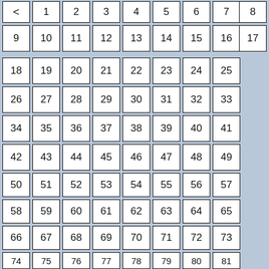[Figure (other): Grid of numbered cells from less-than symbol and 1 through 97, arranged in rows of 8 columns on a grey background. Each number is in a white bordered box. Partial rows visible at top and bottom.]